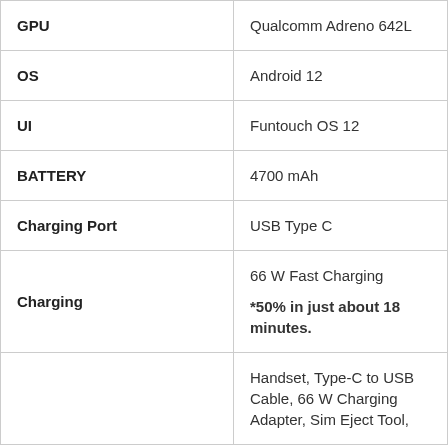| Spec | Value |
| --- | --- |
| GPU | Qualcomm Adreno 642L |
| OS | Android 12 |
| UI | Funtouch OS 12 |
| BATTERY | 4700 mAh |
| Charging Port | USB Type C |
| Charging | 66 W Fast Charging
*50% in just about 18 minutes. |
|  | Handset, Type-C to USB Cable, 66 W Charging Adapter, Sim Eject Tool, |